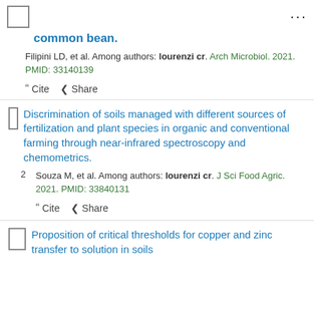common bean.
Filipini LD, et al. Among authors: lourenzi cr. Arch Microbiol. 2021. PMID: 33140139
" Cite  < Share
Discrimination of soils managed with different sources of fertilization and plant species in organic and conventional farming through near-infrared spectroscopy and chemometrics.
Souza M, et al. Among authors: lourenzi cr. J Sci Food Agric. 2021. PMID: 33840131
" Cite  < Share
Proposition of critical thresholds for copper and zinc transfer to solution in soils